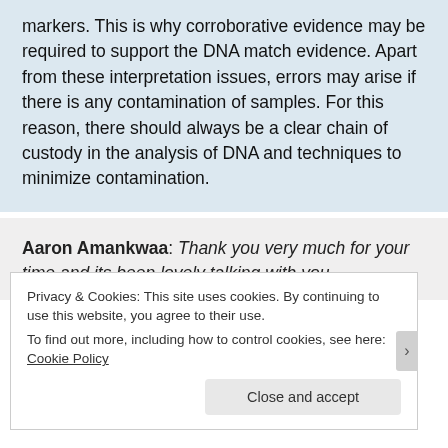markers. This is why corroborative evidence may be required to support the DNA match evidence. Apart from these interpretation issues, errors may arise if there is any contamination of samples. For this reason, there should always be a clear chain of custody in the analysis of DNA and techniques to minimize contamination.
Aaron Amankwaa: Thank you very much for your time and its been lovely talking with you
Privacy & Cookies: This site uses cookies. By continuing to use this website, you agree to their use.
To find out more, including how to control cookies, see here: Cookie Policy
Close and accept